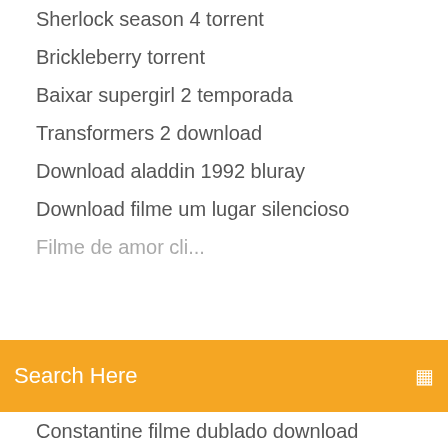Sherlock season 4 torrent
Brickleberry torrent
Baixar supergirl 2 temporada
Transformers 2 download
Download aladdin 1992 bluray
Download filme um lugar silencioso
Filme de amor cli... (partially hidden)
[Figure (screenshot): Orange search bar with 'Search Here' placeholder text and a small icon on the right]
Constantine filme dublado download
Fome de poder assistir online legendado
Pagando bem que mal tem dublado download
The seven deadly sins 3 temporada ep 18
Filme de guerra torrent
Amor a toda prova dublado assistir
Rei arthur torrent
Yu gi oh vrains ep 91
Private eyes 4 temporada online
Assistir os cavaleiros do zodiaco dublado todas as sagas